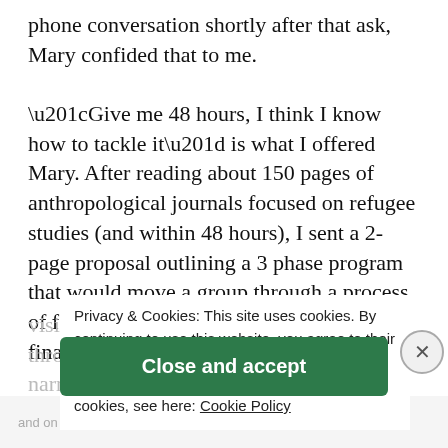phone conversation shortly after that ask, Mary confided that to me.
“Give me 48 hours, I think I know how to tackle it” is what I offered Mary. After reading about 150 pages of anthropological journals focused on refugee studies (and within 48 hours), I sent a 2-page proposal outlining a 3 phase program that would move a group through a process of familiarization, collaborative play, and finally
visioning and ideation for their future through a curriculum of interactive and narrative games. I also added context that this program would only be helpful once the refugees had their basic needs (clothing,
Privacy & Cookies: This site uses cookies. By continuing to use this website, you agree to their use.
To find out more, including how to control cookies, see here: Cookie Policy
Close and accept
and on a budget?